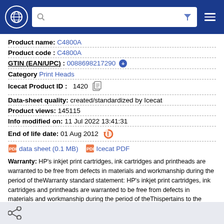Navigation header with globe icon, search bar, filter icon, and menu icon
Product name: C4800A
Product code: C4800A
GTIN (EAN/UPC): 0088698217290
Category Print Heads
Icecat Product ID: 1420
Data-sheet quality: created/standardized by Icecat
Product views: 145115
Info modified on: 11 Jul 2022 13:41:31
End of life date: 01 Aug 2012
data sheet (0.1 MB)  Icecat PDF
Warranty: HP's inkjet print cartridges, ink cartridges and printheads are warranted to be free from defects in materials and workmanship during the period of theWarranty standard statement: HP's inkjet print cartridges, ink cartridges and printheads are warranted to be free from defects in materials and workmanship during the period of theThispertains to the product when
Share icon